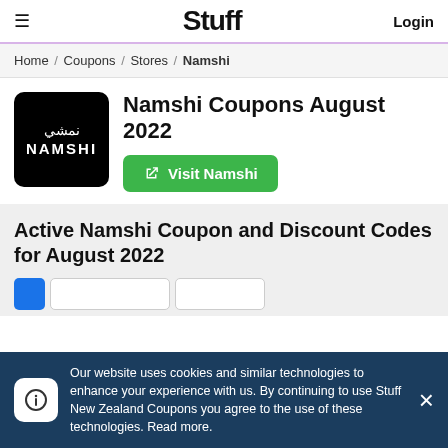≡  Stuff  Login
Home / Coupons / Stores / Namshi
[Figure (logo): Namshi brand logo: black rounded square with Arabic text نمشي and NAMSHI in white]
Namshi Coupons August 2022
Visit Namshi
Active Namshi Coupon and Discount Codes for August 2022
Our website uses cookies and similar technologies to enhance your experience with us. By continuing to use Stuff New Zealand Coupons you agree to the use of these technologies. Read more.